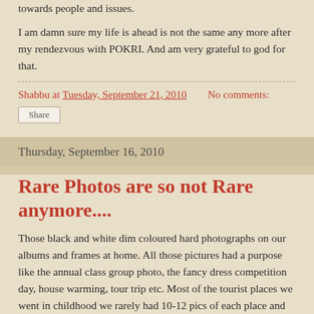towards people and issues.
I am damn sure my life is ahead is not the same any more after my rendezvous with POKRI. And am very grateful to god for that.
Shabbu at Tuesday, September 21, 2010   No comments:
Share
Thursday, September 16, 2010
Rare Photos are so not Rare anymore....
Those black and white dim coloured hard photographs on our albums and frames at home. All those pictures had a purpose like the annual class group photo, the fancy dress competition day, house warming, tour trip etc. Most of the tourist places we went in childhood we rarely had 10-12 pics of each place and most of them were group photos. That was the whole beauty about them when you look at them we cherish them even more. These days with the advent of